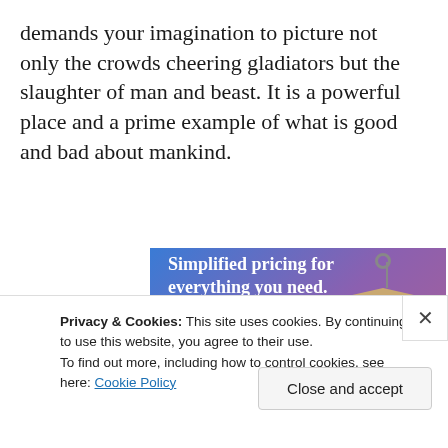demands your imagination to picture not only the crowds cheering gladiators but the slaughter of man and beast. It is a powerful place and a prime example of what is good and bad about mankind.
[Figure (screenshot): Advertisement banner with gradient blue-to-purple background. Text reads 'Simplified pricing for everything you need.' with a pink 'Build Your Website' button and a price tag illustration on the right.]
Privacy & Cookies: This site uses cookies. By continuing to use this website, you agree to their use.
To find out more, including how to control cookies, see here: Cookie Policy
Close and accept